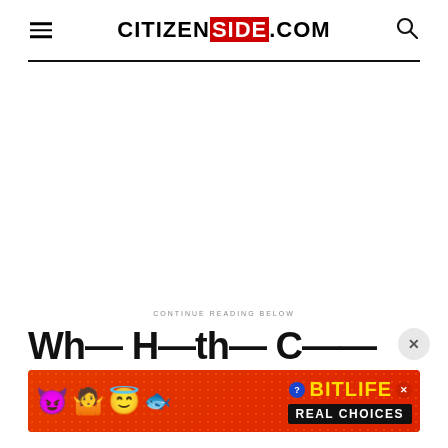CITIZENSIDE.COM
[Figure (screenshot): White empty advertisement space]
CONTINUE READING BELOW
Wh... H...th... C......
[Figure (screenshot): BitLife REAL CHOICES banner advertisement with emoji characters on red dotted background]